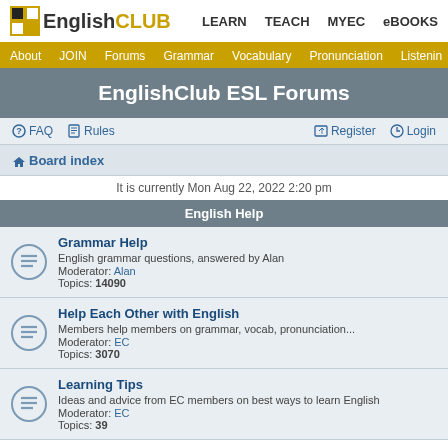EnglishCLUB — LEARN  TEACH  MYEC  eBOOKS
About  JOIN  Forums  Grammar  Vocabulary  Pronunciation  Listening
EnglishClub ESL Forums
❓ FAQ  📋 Rules        ✏️ Register  ⏻ Login
🏠 Board index
It is currently Mon Aug 22, 2022 2:20 pm
English Help
Grammar Help
English grammar questions, answered by Alan
Moderator: Alan
Topics: 14090
Help Each Other with English
Members help members on grammar, vocab, pronunciation...
Moderator: EC
Topics: 3070
Learning Tips
Ideas and advice from EC members on best ways to learn English
Moderator: EC
Topics: 39